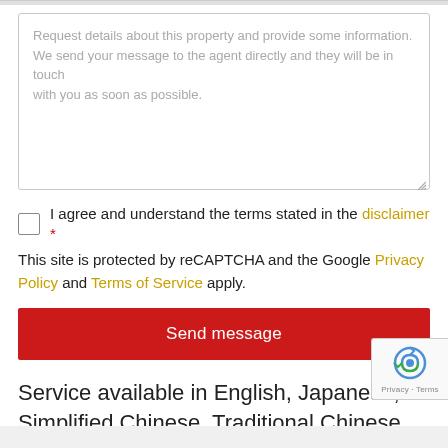[Figure (screenshot): Textarea input field with placeholder text: Request details about this property and provide some information. We send your message to the agent directly and they will be in touch with you as soon as possible.]
I agree and understand the terms stated in the disclaimer * This site is protected by reCAPTCHA and the Google Privacy Policy and Terms of Service apply.
Send message
Service available in English, Japanese, Simplified Chinese, Traditional Chinese